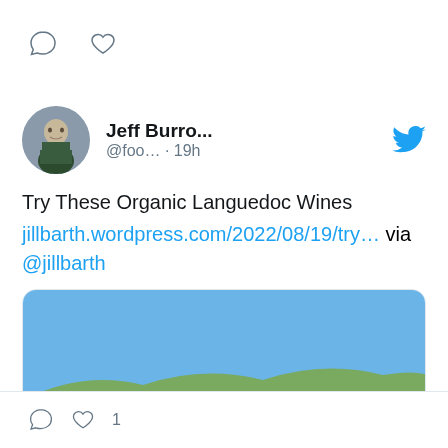[Figure (screenshot): Twitter/social media feed screenshot showing tweet actions bar at top (comment and heart icons)]
Jeff Burro... @foo... · 19h
Try These Organic Languedoc Wines jillbarth.wordpress.com/2022/08/19/try… via @jillbarth
[Figure (photo): Landscape photo of Languedoc wine region with hills, vineyards and blue sky]
jillbarth.wordpress.com
Try These Organic Languedoc Wines
1 like